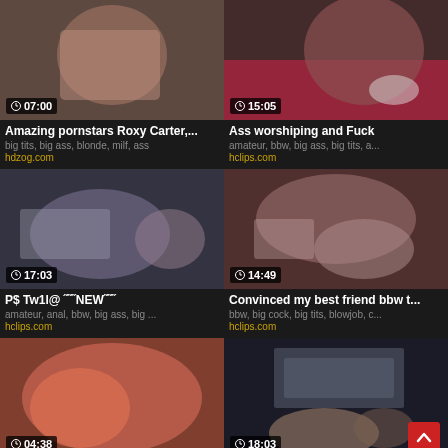[Figure (screenshot): Video thumbnail 1 - 07:00 duration]
Amazing pornstars Roxy Carter,...
big tits, big ass, blonde, milf, ass
hdzog.com
[Figure (screenshot): Video thumbnail 2 - 15:05 duration]
Ass worshiping and Fuck
amateur, bbw, big ass, big tits, a...
hclips.com
[Figure (screenshot): Video thumbnail 3 - 17:03 duration]
P$ Tw1l@ ˝˝˝NEW˝˝˝
amateur, anal, bbw, big ass, big ...
hclips.com
[Figure (screenshot): Video thumbnail 4 - 14:49 duration]
Convinced my best friend bbw t...
bbw, big cock, big tits, blowjob, c...
hclips.com
[Figure (screenshot): Video thumbnail 5 - 04:38 duration]
[Figure (screenshot): Video thumbnail 6 - 18:03 duration]